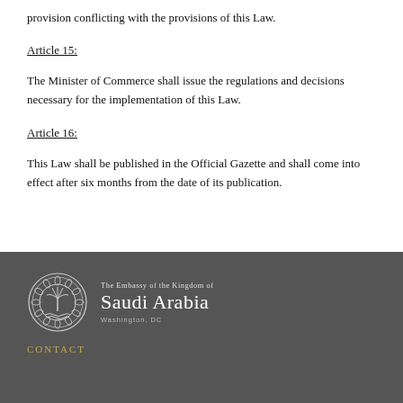provision conflicting with the provisions of this Law.
Article 15:
The Minister of Commerce shall issue the regulations and decisions necessary for the implementation of this Law.
Article 16:
This Law shall be published in the Official Gazette and shall come into effect after six months from the date of its publication.
[Figure (logo): The Embassy of the Kingdom of Saudi Arabia, Washington, DC logo with circular palm tree emblem on dark gray background]
CONTACT